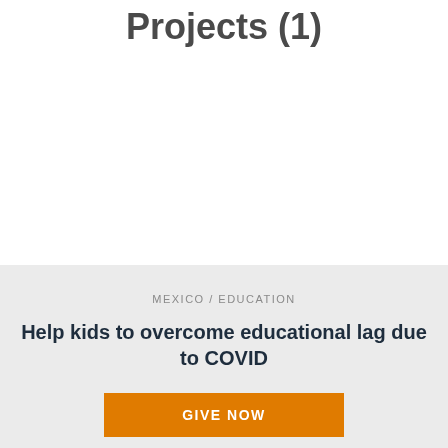Projects (1)
MEXICO / EDUCATION
Help kids to overcome educational lag due to COVID
GIVE NOW